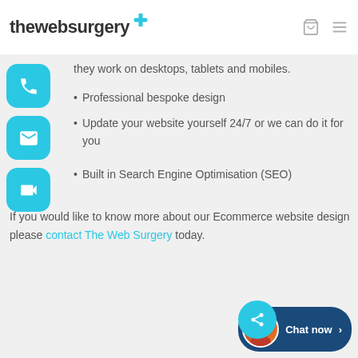[Figure (logo): The Web Surgery logo with teal plus sign and two header icons (bag, hamburger menu)]
they work on desktops, tablets and mobiles.
Professional bespoke design
Update your website yourself 24/7 or we can do it for you
Built in Search Engine Optimisation (SEO)
If you would like to know more about our Ecommerce website design please contact The Web Surgery today.